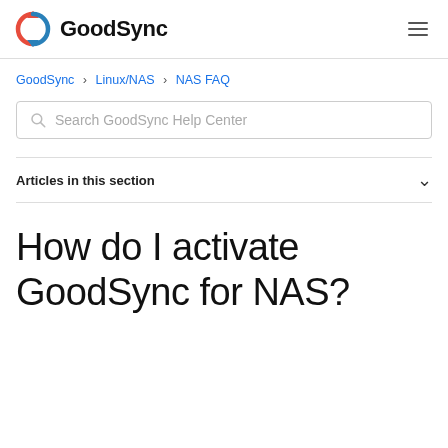GoodSync
GoodSync > Linux/NAS > NAS FAQ
Search GoodSync Help Center
Articles in this section
How do I activate GoodSync for NAS?